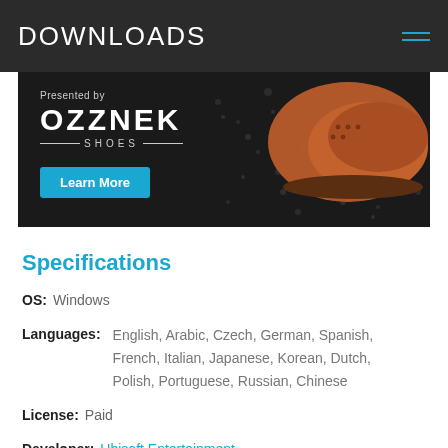DOWNLOADS
[Figure (illustration): Advertisement banner for OZZNEK SHOES with a brown leather brogue shoe on dark gravel background. Text reads 'Presented by OZZNEK SHOES' with a blue 'Learn More' button.]
Specifications
OS: Windows
Languages: English, Arabic, Czech, German, Spanish, French, Italian, Japanese, Korean, Dutch, Polish, Portuguese, Russian, Chinese
License: Paid
Developer: Ubisoft Entertainment
Top Action